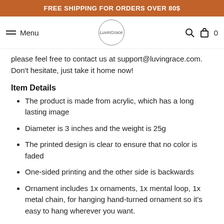FREE SHIPPING FOR ORDERS OVER 80$
Menu | LuvinGrace | Search | Bag 0
please feel free to contact us at support@luvingrace.com. Don't hesitate, just take it home now!
Item Details
The product is made from acrylic, which has a long lasting image
Diameter is 3 inches and the weight is 25g
The printed design is clear to ensure that no color is faded
One-sided printing and the other side is backwards
Ornament includes 1x ornaments, 1x mental loop, 1x metal chain, for hanging hand-turned ornament so it's easy to hang wherever you want.